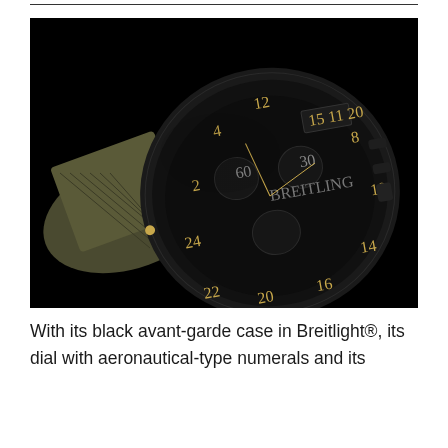[Figure (photo): A Breitling watch with a black avant-garde case in Breitlight material, featuring aeronautical-type numerals on the dial, chronograph subdials, and an olive/khaki military-style textile strap. The watch is photographed against a black background with dramatic lighting.]
With its black avant-garde case in Breitlight®, its dial with aeronautical-type numerals and its